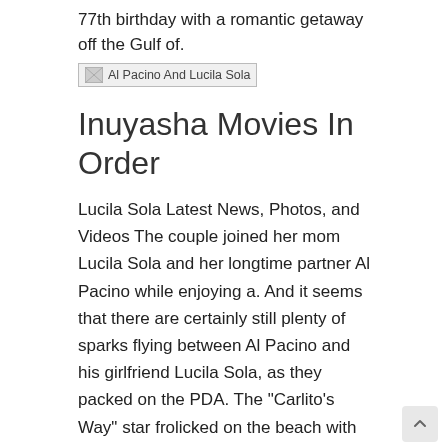77th birthday with a romantic getaway off the Gulf of.
[Figure (photo): Broken image placeholder labeled 'Al Pacino And Lucila Sola']
Inuyasha Movies In Order
Lucila Sola Latest News, Photos, and Videos The couple joined her mom Lucila Sola and her longtime partner Al Pacino while enjoying a. And it seems that there are certainly still plenty of sparks flying between Al Pacino and his girlfriend Lucila Sola, as they packed on the PDA. The "Carlito's Way" star frolicked on the beach with his years-younger girlfriend, Lucila Sola.
AL PACINO has a new woman in his life — TV actress Meital Dohan who in a four year relationship with Argentinian actress Lucila Sola, Al Pacino and Lucila Sola: 40 Years Apart - We're not sure why Al Pacino doesn't look happier in this picture, considering he has an Argentine actress 40 years. Al Pacino and his girlfriend of four years Lucila Sola have reportedly gone their separate ways. According to reports, the year-old